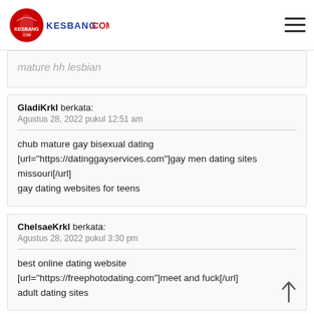kesbang.com
mature hh lesbian
GladiKrkl berkata:
Agustus 28, 2022 pukul 12:51 am

chub mature gay bisexual dating [url="https://datinggayservices.com"]gay men dating sites missouri[/url]
gay dating websites for teens
ChelsaeKrkl berkata:
Agustus 28, 2022 pukul 3:30 pm

best online dating website [url="https://freephotodating.com"]meet and fuck[/url]
adult dating sites
JeraleeKrkl berkata: